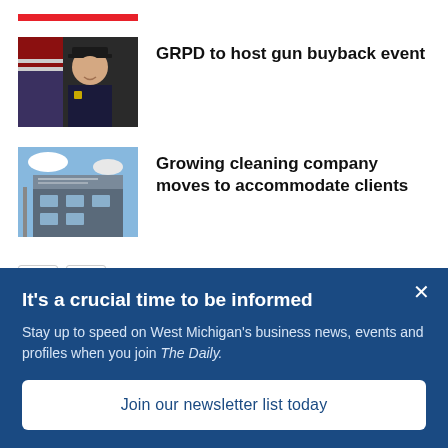[Figure (illustration): Red horizontal bar accent]
[Figure (photo): Police chief in uniform with American flag in background]
GRPD to host gun buyback event
[Figure (photo): Commercial building exterior with signage]
Growing cleaning company moves to accommodate clients
It's a crucial time to be informed
Stay up to date on West Michigan's business news, events and profiles when you join The Daily.
Join our newsletter list today